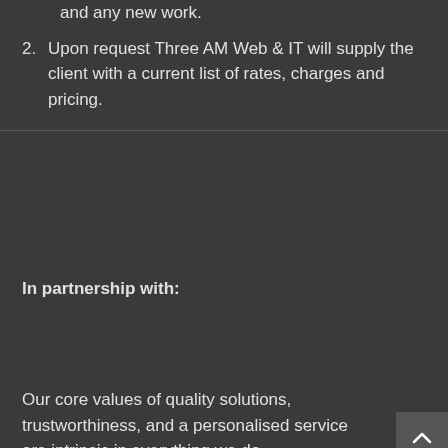and any new work.
2. Upon request Three AM Web & IT will supply the client with a current list of rates, charges and pricing.
In partnership with:
Our core values of quality solutions, trustworthiness, and a personalised service are intrinsic in everything we do.